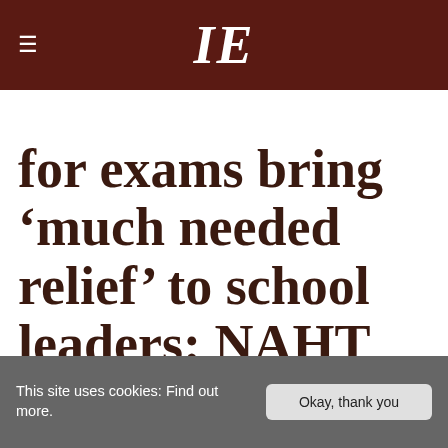IE — Independent Education Today
for exams bring 'much needed relief' to school leaders: NAHT
This site uses cookies: Find out more.